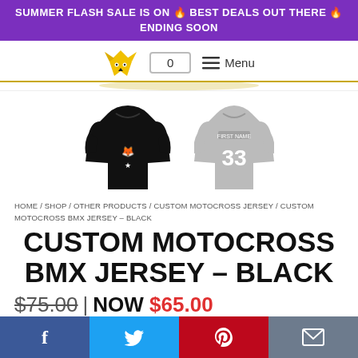SUMMER FLASH SALE IS ON 🔥 BEST DEALS OUT THERE 🔥 ENDING SOON
[Figure (logo): Fox logo and navigation bar with cart (0) and Menu]
[Figure (photo): Two motocross jerseys: black jersey with logo on left, grey jersey with number 33 on back on right]
HOME / SHOP / OTHER PRODUCTS / CUSTOM MOTOCROSS JERSEY / CUSTOM MOTOCROSS BMX JERSEY – BLACK
CUSTOM MOTOCROSS BMX JERSEY – BLACK
$75.00 | NOW $65.00
[Figure (infographic): Social share buttons: Facebook (blue), Twitter (light blue), Pinterest (red), Email (grey)]